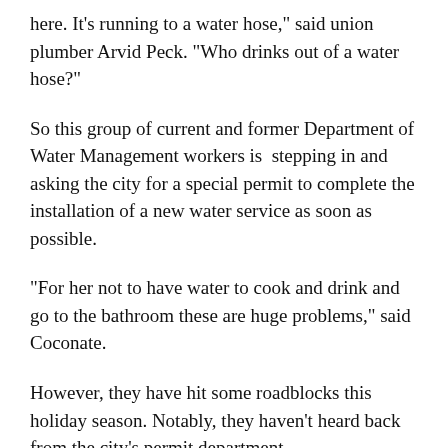here. It's running to a water hose," said union plumber Arvid Peck. "Who drinks out of a water hose?"
So this group of current and former Department of Water Management workers is stepping in and asking the city for a special permit to complete the installation of a new water service as soon as possible.
“For her not to have water to cook and drink and go to the bathroom these are huge problems,” said Coconate.
However, they have hit some roadblocks this holiday season. Notably, they haven’t heard back from the city’s permit department.
In the meantime, the plumbers are stocking up Peters’ home with bottled water.
Peters is being patient and says she has been touched